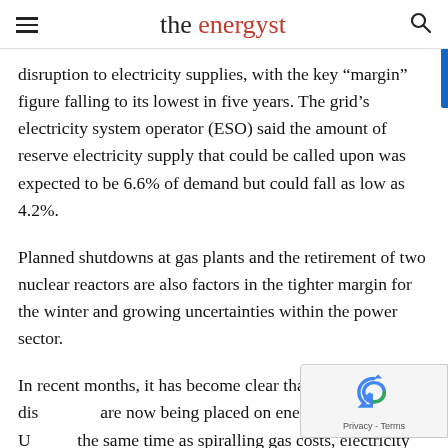the energyst
disruption to electricity supplies, with the key “margin” figure falling to its lowest in five years. The grid’s electricity system operator (ESO) said the amount of reserve electricity supply that could be called upon was expected to be 6.6% of demand but could fall as low as 4.2%.
Planned shutdowns at gas plants and the retirement of two nuclear reactors are also factors in the tighter margin for the winter and growing uncertainties within the power sector.
In recent months, it has become clear that serious [disruptions] are now being placed on energy security in the UK [and] at the same time as spiralling gas costs, electricity su[pplies]